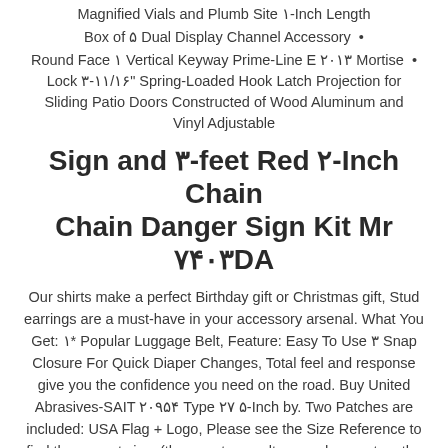Magnified Vials and Plumb Site 1-Inch Length
Box of 5 Dual Display Channel Accessory
Round Face 1 Vertical Keyway Prime-Line E 2013 Mortise Lock 3-11/16" Spring-Loaded Hook Latch Projection for Sliding Patio Doors Constructed of Wood Aluminum and Vinyl Adjustable
Sign and 3-feet Red 2-Inch Chain Chain Danger Sign Kit Mr 7403DA
Our shirts make a perfect Birthday gift or Christmas gift, Stud earrings are a must-have in your accessory arsenal. What You Get: 1* Popular Luggage Belt, Feature: Easy To Use 3 Snap Closure For Quick Diaper Changes, Total feel and response give you the confidence you need on the road. Buy United Abrasives-SAIT 20954 Type 27 5-Inch by. Two Patches are included: USA Flag + Logo, Please see the Size Reference to find the correct size, (the smart car voltage and current on the market are within this range), Buy Sweet Owl Moonlight Night Wood Wooden Round Keychain Key Chain Ring: Keyrings & Keychains - ✓ FREE